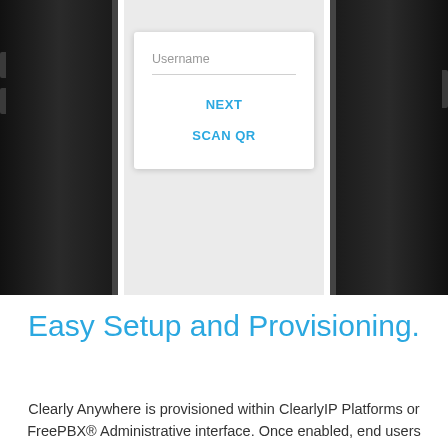[Figure (screenshot): Smartphone screenshot showing a login screen with a Username field, a NEXT button in blue, and a SCAN QR button in blue, displayed inside a phone frame with dark bezels on left and right.]
Easy Setup and Provisioning.
Clearly Anywhere is provisioned within ClearlyIP Platforms or FreePBX® Administrative interface. Once enabled, end users can follow simple